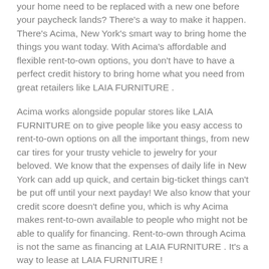your home need to be replaced with a new one before your paycheck lands? There's a way to make it happen. There's Acima, New York's smart way to bring home the things you want today. With Acima's affordable and flexible rent-to-own options, you don't have to have a perfect credit history to bring home what you need from great retailers like LAIA FURNITURE .
Acima works alongside popular stores like LAIA FURNITURE on to give people like you easy access to rent-to-own options on all the important things, from new car tires for your trusty vehicle to jewelry for your beloved. We know that the expenses of daily life in New York can add up quick, and certain big-ticket things can't be put off until your next payday! We also know that your credit score doesn't define you, which is why Acima makes rent-to-own available to people who might not be able to qualify for financing. Rent-to-own through Acima is not the same as financing at LAIA FURNITURE . It's a way to lease at LAIA FURNITURE !